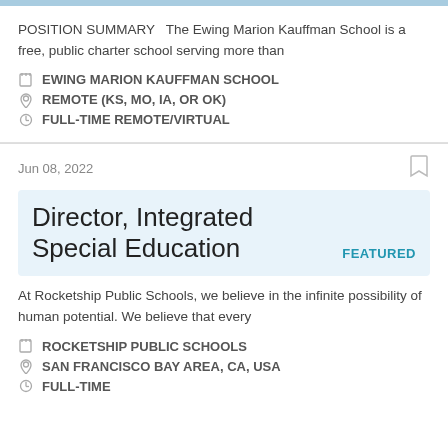POSITION SUMMARY   The Ewing Marion Kauffman School is a free, public charter school serving more than
EWING MARION KAUFFMAN SCHOOL
REMOTE (KS, MO, IA, OR OK)
FULL-TIME REMOTE/VIRTUAL
Jun 08, 2022
Director, Integrated Special Education
FEATURED
At Rocketship Public Schools, we believe in the infinite possibility of human potential. We believe that every
ROCKETSHIP PUBLIC SCHOOLS
SAN FRANCISCO BAY AREA, CA, USA
FULL-TIME